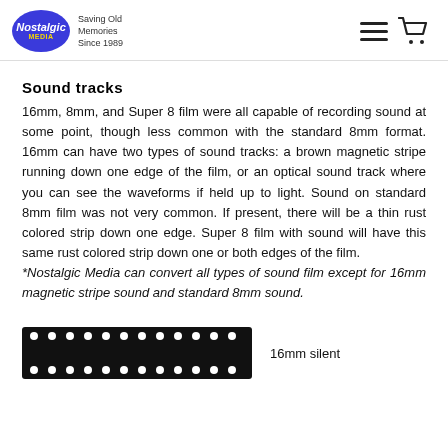Nostalgic Media — Saving Old Memories Since 1989
Sound tracks
16mm, 8mm, and Super 8 film were all capable of recording sound at some point, though less common with the standard 8mm format. 16mm can have two types of sound tracks: a brown magnetic stripe running down one edge of the film, or an optical sound track where you can see the waveforms if held up to light. Sound on standard 8mm film was not very common. If present, there will be a thin rust colored strip down one edge. Super 8 film with sound will have this same rust colored strip down one or both edges of the film. *Nostalgic Media can convert all types of sound film except for 16mm magnetic stripe sound and standard 8mm sound.
[Figure (illustration): A black film strip with white sprocket holes along the top and bottom edges, labeled '16mm silent']